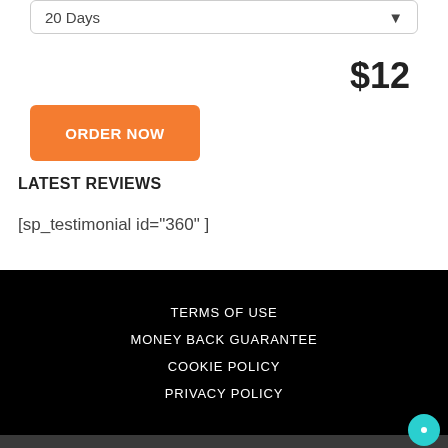20 Days
$12
ORDER NOW
LATEST REVIEWS
[sp_testimonial id="360" ]
TERMS OF USE
MONEY BACK GUARANTEE
COOKIE POLICY
PRIVACY POLICY
PAYMENT METHODS